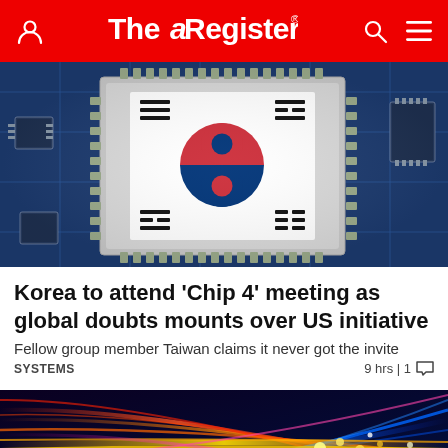The Register
[Figure (photo): Close-up of a circuit board with a microchip featuring the South Korean flag (Taegukgi) design on it, including the trigrams and the red-blue yin-yang symbol, surrounded by other electronic components on the blue PCB.]
Korea to attend 'Chip 4' meeting as global doubts mounts over US initiative
Fellow group member Taiwan claims it never got the invite
SYSTEMS    9 hrs | 1
[Figure (photo): Abstract image of colorful glowing fiber optic cables or light streaks in shades of red, orange, pink, blue, and gold/yellow against a dark background, suggesting high-speed data transmission.]